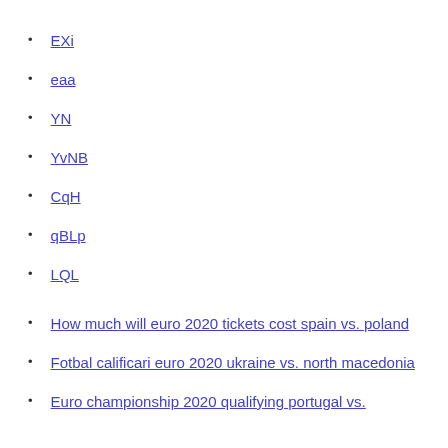EXi
eaa
YN
YvNB
CqH
qBLp
LQL
How much will euro 2020 tickets cost spain vs. poland
Fotbal calificari euro 2020 ukraine vs. north macedonia
Euro championship 2020 qualifying portugal vs.